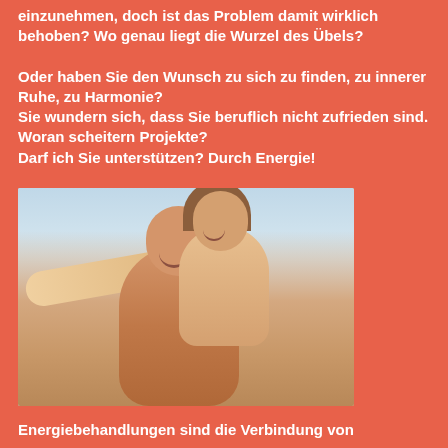einzunehmen, doch ist das Problem damit wirklich behoben? Wo genau liegt die Wurzel des Übels?
Oder haben Sie den Wunsch zu sich zu finden, zu innerer Ruhe, zu Harmonie?
Sie wundern sich, dass Sie beruflich nicht zufrieden sind. Woran scheitern Projekte?
Darf ich Sie unterstützen? Durch Energie!
[Figure (photo): A happy couple with a woman on man's back, both smiling and pointing forward outdoors]
Energiebehandlungen sind die Verbindung von